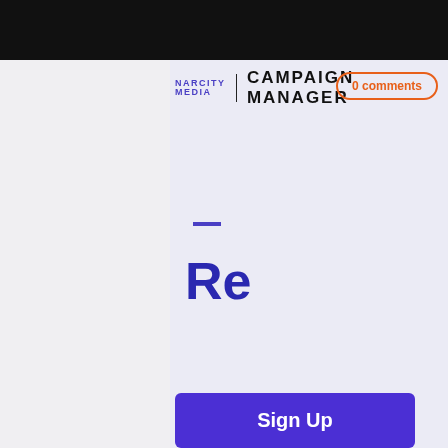NARCITY MEDIA | CAMPAIGN MANAGER
0 comments
—
Re
Sign Up